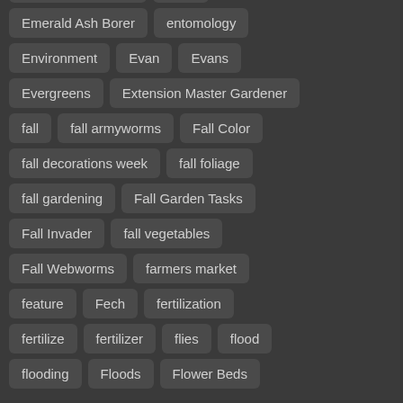estate landscaping
Eggs
Emerald Ash Borer
entomology
Environment
Evan
Evans
Evergreens
Extension Master Gardener
fall
fall armyworms
Fall Color
fall decorations week
fall foliage
fall gardening
Fall Garden Tasks
Fall Invader
fall vegetables
Fall Webworms
farmers market
feature
Fech
fertilization
fertilize
fertilizer
flies
flood
flooding
Floods
Flower Beds